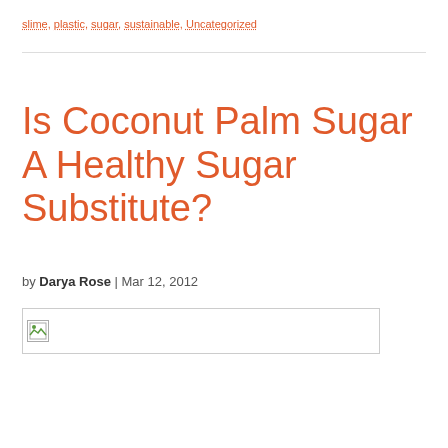slime, plastic, sugar, sustainable, Uncategorized
Is Coconut Palm Sugar A Healthy Sugar Substitute?
by Darya Rose | Mar 12, 2012
[Figure (photo): Broken/missing image placeholder]